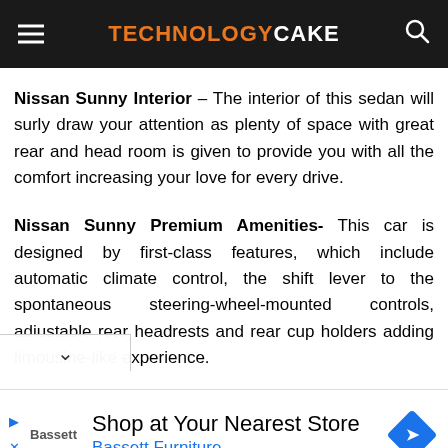TECHNOLOGYCAKE
Nissan Sunny Interior – The interior of this sedan will surly draw your attention as plenty of space with great rear and head room is given to provide you with all the comfort increasing your love for every drive.
Nissan Sunny Premium Amenities- This car is designed by first-class features, which include automatic climate control, the shift lever to the spontaneous steering-wheel-mounted controls, adiustable rear headrests and rear cup holders adding limousine-like experience.
[Figure (infographic): Bassett Furniture advertisement banner with text 'Shop at Your Nearest Store' and 'Bassett Furniture', with a blue diamond-shaped navigation icon on the right.]